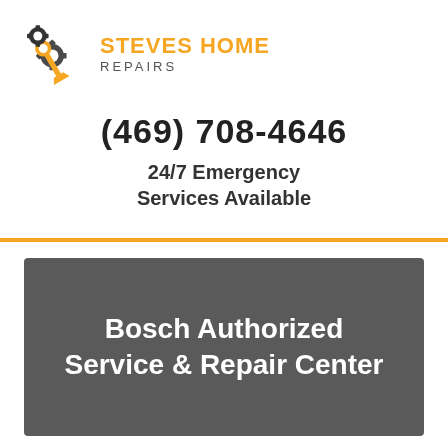[Figure (logo): Steves Home Repairs logo with wrench and gear icon in orange/dark gray, company name in orange bold uppercase 'STEVES HOME' and gray 'REPAIRS' subtitle]
(469) 708-4646
24/7 Emergency Services Available
Bosch Authorized Service & Repair Center